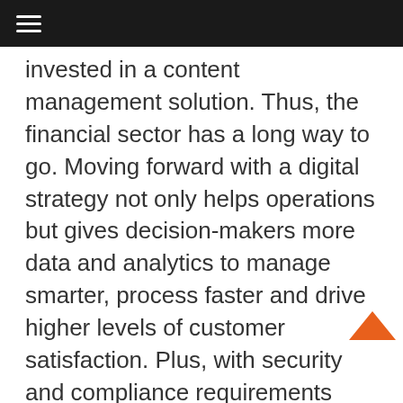≡
invested in a content management solution. Thus, the financial sector has a long way to go. Moving forward with a digital strategy not only helps operations but gives decision-makers more data and analytics to manage smarter, process faster and drive higher levels of customer satisfaction. Plus, with security and compliance requirements constantly looming in the financial industry, transforming their operations to be digitally based rather than paper-reliant gives them more